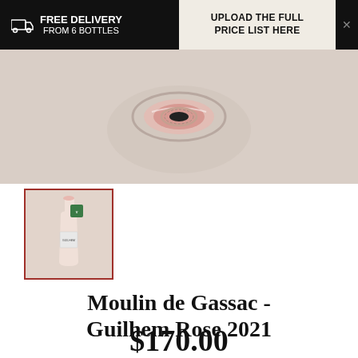FREE DELIVERY FROM 6 BOTTLES
UPLOAD THE FULL PRICE LIST HERE
[Figure (photo): Top-down view of rosé wine bottle on light beige stone surface]
[Figure (photo): Thumbnail of rosé wine bottle with green label sticker]
Moulin de Gassac - Guilhem Rose 2021
$170.00